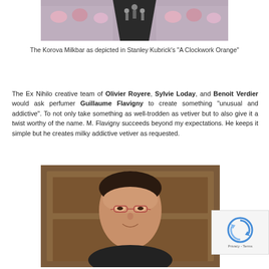[Figure (photo): A scene depicting the Korova Milkbar from Stanley Kubrick's A Clockwork Orange, showing a long dark runway between seated figures.]
The Korova Milkbar as depicted in Stanley Kubrick's "A Clockwork Orange"
The Ex Nihilo creative team of Olivier Royere, Sylvie Loday, and Benoit Verdier would ask perfumer Guillaume Flavigny to create something “unusual and addictive”. To not only take something as well-trodden as vetiver but to also give it a twist worthy of the name. M. Flavigny succeeds beyond my expectations. He keeps it simple but he creates milky addictive vetiver as requested.
[Figure (photo): Portrait photo of a man (Guillaume Flavigny) with dark hair, wearing glasses, smiling slightly, standing in front of a wooden door.]